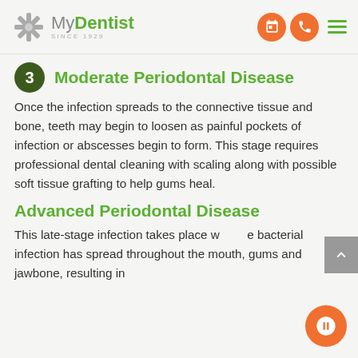My Dentist Since 1929
3 Moderate Periodontal Disease
Once the infection spreads to the connective tissue and bone, teeth may begin to loosen as painful pockets of infection or abscesses begin to form. This stage requires professional dental cleaning with scaling along with possible soft tissue grafting to help gums heal.
Advanced Periodontal Disease
This late-stage infection takes place where bacterial infection has spread throughout the mouth, gums and jawbone, resulting in